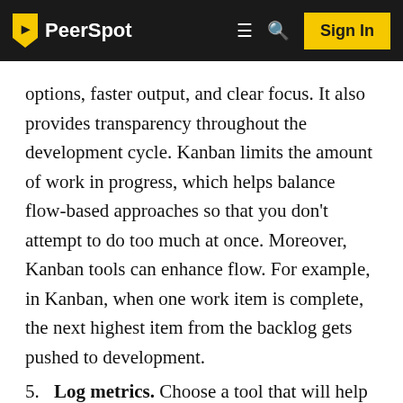PeerSpot — Sign In
options, faster output, and clear focus. It also provides transparency throughout the development cycle. Kanban limits the amount of work in progress, which helps balance flow-based approaches so that you don't attempt to do too much at once. Moreover, Kanban tools can enhance flow. For example, in Kanban, when one work item is complete, the next highest item from the backlog gets pushed to development.
5. Log metrics. Choose a tool that will help your organization log metrics on both manual and automated processes. You need to make sure that the tool you select will give you a good understanding of the productivity of your